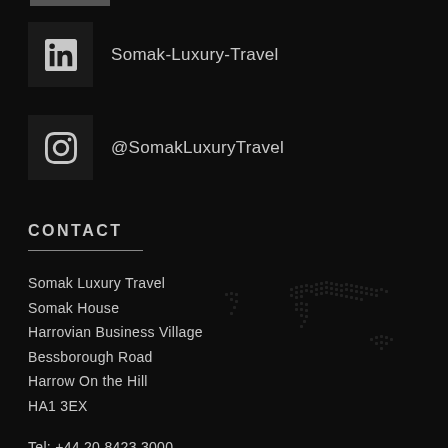Somak-Luxury-Travel
@SomakLuxuryTravel
CONTACT
Somak Luxury Travel
Somak House
Harrovian Business Village
Bessborough Road
Harrow On the Hill
HA1 3EX
Tel: +44 20 8423 3000
Fax: +44 20 8423 7700